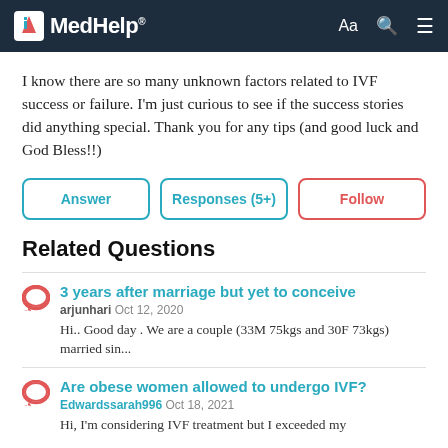MedHelp
I know there are so many unknown factors related to IVF success or failure. I'm just curious to see if the success stories did anything special. Thank you for any tips (and good luck and God Bless!!)
Answer
Responses (5+)
Follow
Related Questions
3 years after marriage but yet to conceive
arjunhari Oct 12, 2020
Hi.. Good day . We are a couple (33M 75kgs and 30F 73kgs) married sin...
Are obese women allowed to undergo IVF?
Edwardssarah996 Oct 18, 2021
Hi, I'm considering IVF treatment but I exceeded my